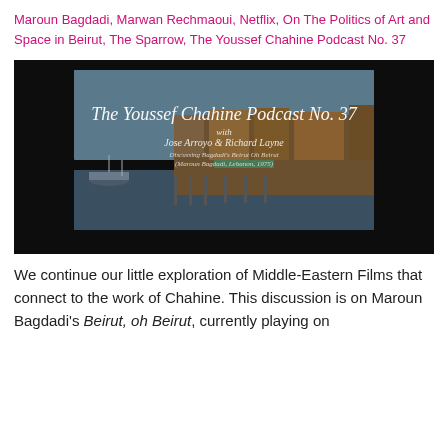Maroun Bagdadi, Marwan Rechmaoui, Netflix, On The Politics of Art and Space in Beirut, The Sparrow, The Youssef Chahine Podcast No. 37
[Figure (screenshot): A podcast thumbnail image with dark background showing a coastal scene in Beirut with old buildings on stilts over water and boats. White script text reads 'The Youssef Chahine Podcast No. 37' with subtitle 'with Jose Arroyo & Richard Layne' and smaller text underneath.]
We continue our little exploration of Middle-Eastern Films that connect to the work of Chahine. This discussion is on Maroun Bagdadi’s Beirut, oh Beirut, currently playing on